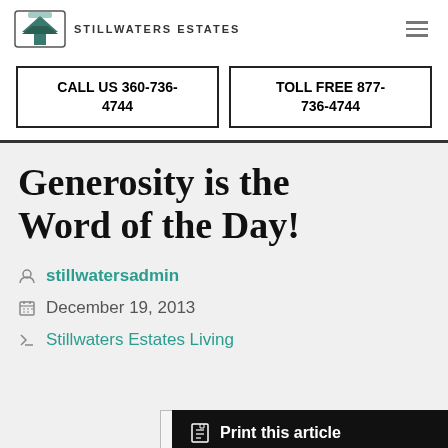STILLWATERS ESTATES
CALL US 360-736-4744
TOLL FREE 877-736-4744
Generosity is the Word of the Day!
stillwatersadmin
December 19, 2013
Stillwaters Estates Living
Print this article